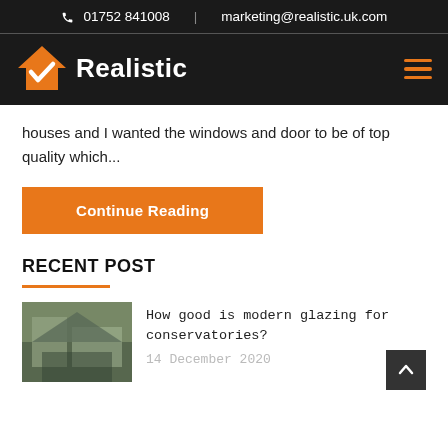01752 841008 | marketing@realistic.uk.com
[Figure (logo): Realistic logo with orange house/checkmark icon and white bold text 'Realistic' on dark background, hamburger menu icon on right]
houses and I wanted the windows and door to be of top quality which...
Continue Reading
RECENT POST
How good is modern glazing for conservatories?
14 December 2020